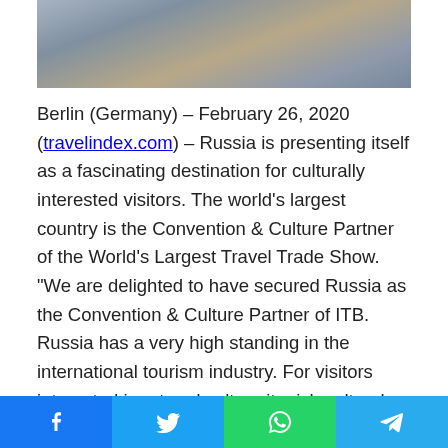[Figure (photo): Partial photo at top of article, showing a person near a building exterior]
Berlin (Germany) – February 26, 2020 (travelindex.com) – Russia is presenting itself as a fascinating destination for culturally interested visitors. The world's largest country is the Convention & Culture Partner of the World's Largest Travel Trade Show. "We are delighted to have secured Russia as the Convention & Culture Partner of ITB. Russia has a very high standing in the international tourism industry. For visitors interested in art and culture its rich cultural heritage in particular is a special highlight", said David Ruetz, head of ITB Berlin, at the partnership agreement signing on 5 November 2019 in London, and added: "Russia has been exhibiting regularly at ITB Berlin since 1994 and will be strongly represented again this year in Hall 3.1. The ITB Berlin Convention will also feature fascinating topics on tourism
[Figure (infographic): Social sharing bar at bottom with Facebook, Twitter, WhatsApp, and Telegram buttons]